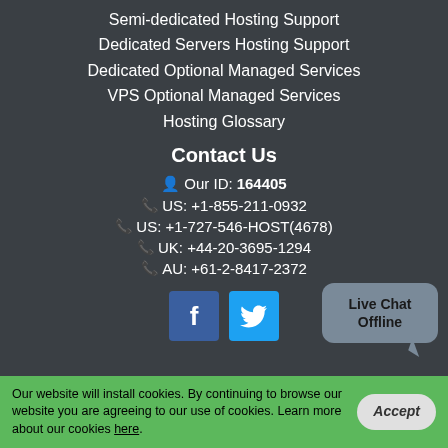Semi-dedicated Hosting Support
Dedicated Servers Hosting Support
Dedicated Optional Managed Services
VPS Optional Managed Services
Hosting Glossary
Contact Us
Our ID: 164405
US: +1-855-211-0932
US: +1-727-546-HOST(4678)
UK: +44-20-3695-1294
AU: +61-2-8417-2372
[Figure (logo): Facebook and Twitter social media icons]
Live Chat Offline
Our website will install cookies. By continuing to browse our website you are agreeing to our use of cookies. Learn more about our cookies here.